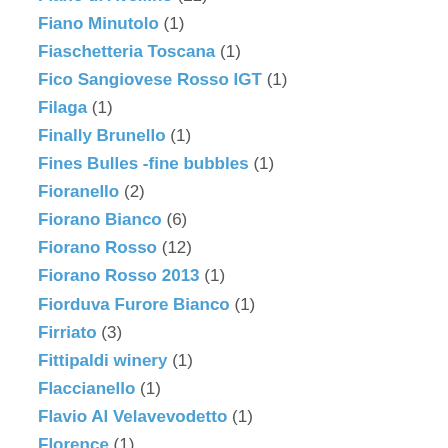Fiano di Avellino (21)
Fiano Minutolo (1)
Fiaschetteria Toscana (1)
Fico Sangiovese Rosso IGT (1)
Filaga (1)
Finally Brunello (1)
Fines Bulles -fine bubbles (1)
Fioranello (2)
Fiorano Bianco (6)
Fiorano Rosso (12)
Fiorano Rosso 2013 (1)
Fiorduva Furore Bianco (1)
Firriato (3)
Fittipaldi winery (1)
Flaccianello (1)
Flavio Al Velavevodetto (1)
Florence (1)
Fonseca (1)
Fontana Candida (2)